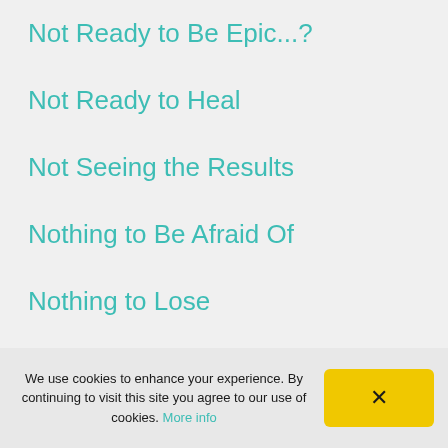Not Ready to Be Epic...?
Not Ready to Heal
Not Seeing the Results
Nothing to Be Afraid Of
Nothing to Lose
"Nothing Works For Me!"
We use cookies to enhance your experience. By continuing to visit this site you agree to our use of cookies. More info